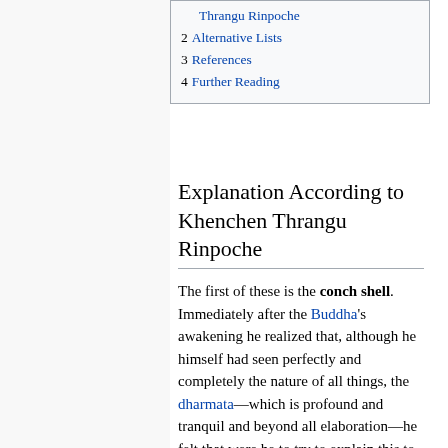Thrangu Rinpoche
2 Alternative Lists
3 References
4 Further Reading
Explanation According to Khenchen Thrangu Rinpoche
The first of these is the conch shell. Immediately after the Buddha's awakening he realized that, although he himself had seen perfectly and completely the nature of all things, the dharmata—which is profound and tranquil and beyond all elaboration—he felt that were he to try to explain this to anyone else, they would be unable to understand it. So he resolved to remain in samadhi, alone in the forest. After he had remained in samadhi for forty-nine